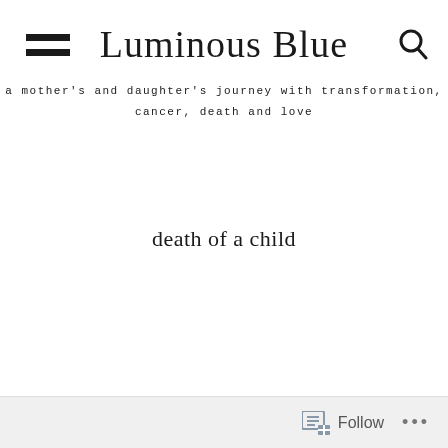Luminous Blue
a mother's and daughter's journey with transformation, cancer, death and love
death of a child
Follow ...